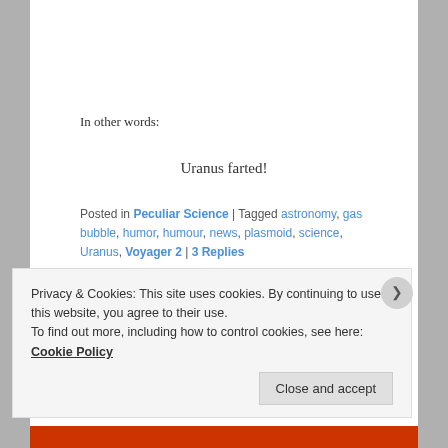In other words:
Uranus farted!
Posted in Peculiar Science | Tagged astronomy, gas bubble, humor, humour, news, plasmoid, science, Uranus, Voyager 2 | 3 Replies
Privacy & Cookies: This site uses cookies. By continuing to use this website, you agree to their use.
To find out more, including how to control cookies, see here: Cookie Policy